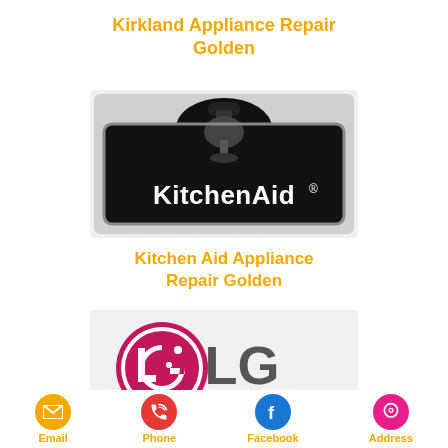Kirkland Appliance Repair Golden
[Figure (logo): KitchenAid brand logo on black background with stand mixer icon]
Kitchen Aid Appliance Repair Golden
[Figure (logo): LG brand logo with pink circle emblem and grey LG text]
Email
Phone
Facebook
Address